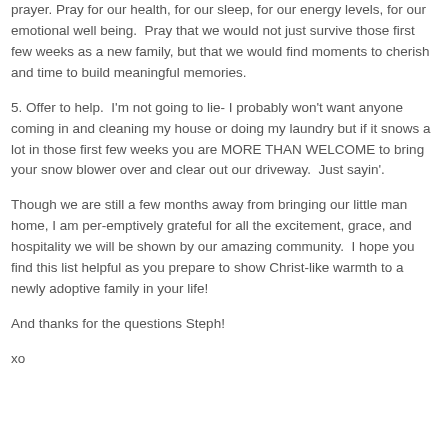prayer. Pray for our health, for our sleep, for our energy levels, for our emotional well being. Pray that we would not just survive those first few weeks as a new family, but that we would find moments to cherish and time to build meaningful memories.
5. Offer to help. I'm not going to lie- I probably won't want anyone coming in and cleaning my house or doing my laundry but if it snows a lot in those first few weeks you are MORE THAN WELCOME to bring your snow blower over and clear out our driveway. Just sayin'.
Though we are still a few months away from bringing our little man home, I am per-emptively grateful for all the excitement, grace, and hospitality we will be shown by our amazing community. I hope you find this list helpful as you prepare to show Christ-like warmth to a newly adoptive family in your life!
And thanks for the questions Steph!
xo